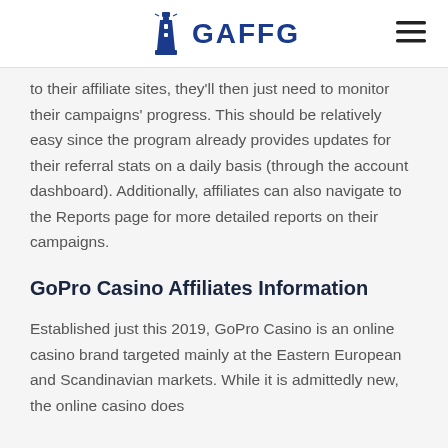GAFFG
to their affiliate sites, they'll then just need to monitor their campaigns' progress. This should be relatively easy since the program already provides updates for their referral stats on a daily basis (through the account dashboard). Additionally, affiliates can also navigate to the Reports page for more detailed reports on their campaigns.
GoPro Casino Affiliates Information
Established just this 2019, GoPro Casino is an online casino brand targeted mainly at the Eastern European and Scandinavian markets. While it is admittedly new, the online casino does